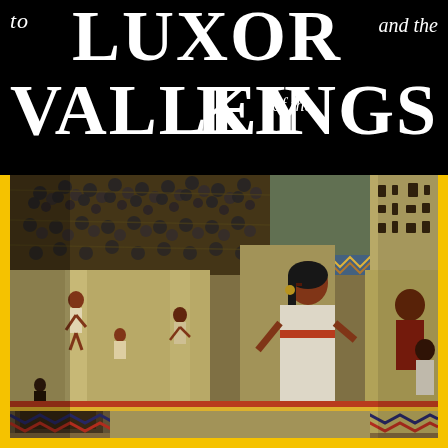to Luxor and the Valley of the Kings
[Figure (photo): Interior of an ancient Egyptian tomb showing painted walls and columns covered with hieroglyphics and colorful figures of people in Egyptian style. The ceiling is decorated with dark grape/leaf patterns. The walls show various Egyptian figures in red, white, and black. A large central figure of an Egyptian person in white garments stands prominently. The tomb corridor extends into the background.]